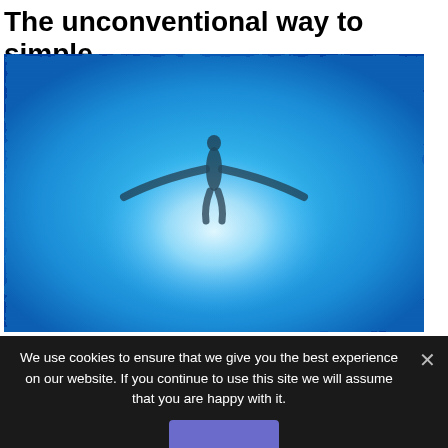The unconventional way to simple
[Figure (photo): Aerial or underwater view of a swimmer in a bright cyan/blue pool, with light reflecting off the water creating a halo effect around the figure. The image is shot from above, showing the swimmer as a dark silhouette surrounded by rippling blue and white water patterns.]
We use cookies to ensure that we give you the best experience on our website. If you continue to use this site we will assume that you are happy with it.